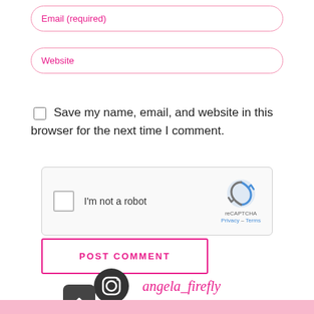Email (required)
Website
Save my name, email, and website in this browser for the next time I comment.
[Figure (screenshot): reCAPTCHA widget with checkbox labeled 'I'm not a robot' and reCAPTCHA logo with Privacy - Terms links]
POST COMMENT
[Figure (logo): Instagram icon circle logo with handle text angela_firefly]
[Figure (other): Scroll-to-top button with upward chevron]